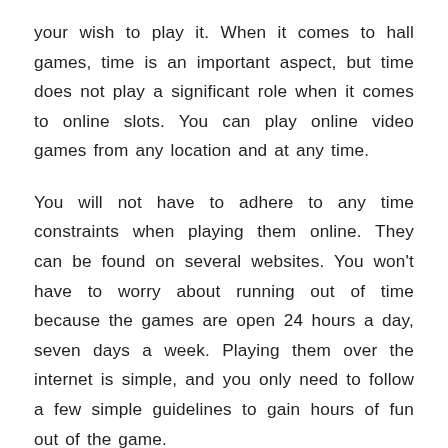your wish to play it. When it comes to hall games, time is an important aspect, but time does not play a significant role when it comes to online slots. You can play online video games from any location and at any time.
You will not have to adhere to any time constraints when playing them online. They can be found on several websites. You won't have to worry about running out of time because the games are open 24 hours a day, seven days a week. Playing them over the internet is simple, and you only need to follow a few simple guidelines to gain hours of fun out of the game.
When playing online games, you should be